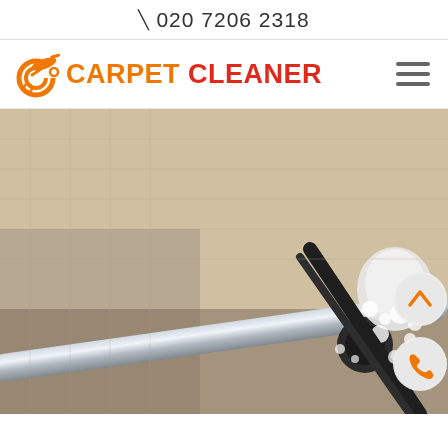📱 020 7206 2318
[Figure (logo): Carpet Cleaner logo with orange motorcycle/C icon and text 'CARPET CLEANER' in orange and red]
[Figure (photo): Close-up photo of a carpet cleaning machine nozzle on a beige/cream textured carpet, with cleaning foam visible. Two circular buttons visible on the right: an up/chevron button and a phone button in orange and gray.]